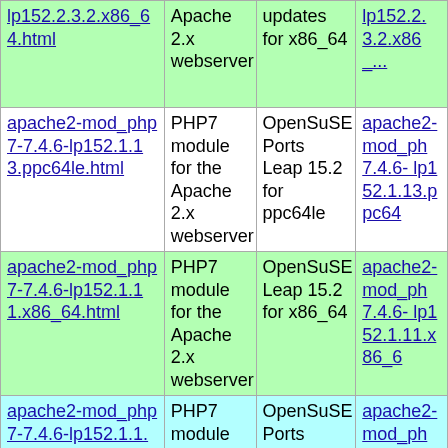| Link | Description | Distribution | Download |
| --- | --- | --- | --- |
| lp152.2.3.2.x86_64.html | Apache 2.x webserver | updates for x86_64 | lp152.2.3.2.x86_... |
| apache2-mod_php7-7.4.6-lp152.1.13.ppc64le.html | PHP7 module for the Apache 2.x webserver | OpenSuSE Ports Leap 15.2 for ppc64le | apache2-mod_ph... 7.4.6- lp152.1.13.ppc64... |
| apache2-mod_php7-7.4.6-lp152.1.11.x86_64.html | PHP7 module for the Apache 2.x webserver | OpenSuSE Leap 15.2 for x86_64 | apache2-mod_ph... 7.4.6- lp152.1.11.x86_6... |
| apache2-mod_php7-7.4.6-lp152.1.1.aarch64.html | PHP7 module for the Apache 2.x webserver | OpenSuSE Ports Leap 15.2 for aarch64 | apache2-mod_ph... 7.4.6- lp152.1.1.aarch64-... |
| apache2-mod_php7-7.4.6-lp152.1.1.armv7hl.html | PHP7 module for the Apache... | OpenSuSE Ports Leap 15.2 for... | apache2-mod_ph... 7.4.6- |